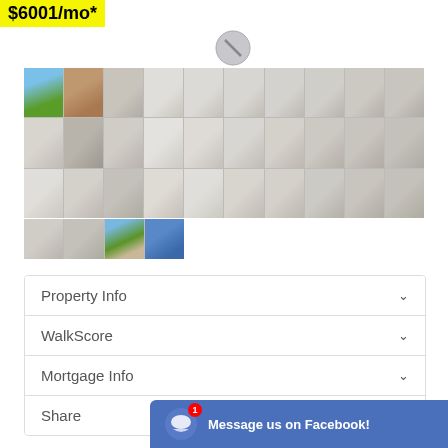$6001/mo*
[Figure (photo): Grid of real estate property photos showing exterior and interior shots of a house]
Property Info
WalkScore
Mortgage Info
Share
Message us on Facebook!